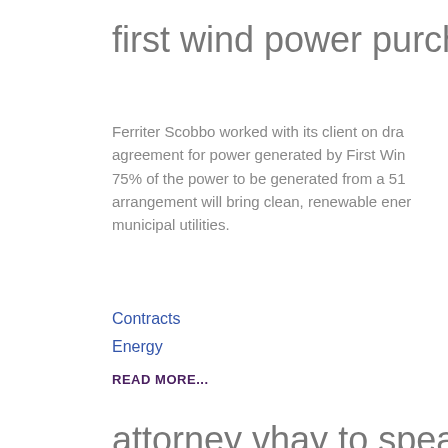first wind power purchase agre…
Ferriter Scobbo worked with its client on dra agreement for power generated by First Win 75% of the power to be generated from a 51 arrangement will bring clean, renewable ener municipal utilities.
Contracts
Energy
READ MORE...
attorney vhay to speak at upcom…
Attorney Michael Vhay will be speaking abou Environmental Business Council members a Event.
READ MORE...